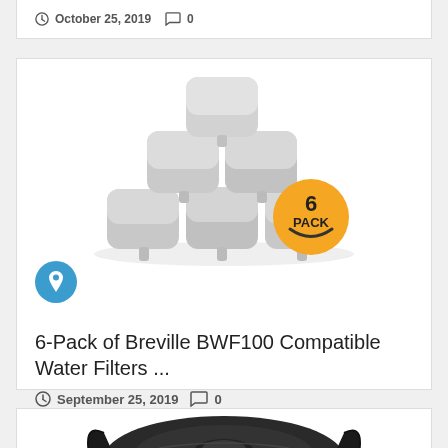October 25, 2019  0
[Figure (photo): 6-Pack of charcoal water filters arranged in a pyramid stack, with an orange '6 PACK' badge on the lower right]
6-Pack of Breville BWF100 Compatible Water Filters ...
September 25, 2019  0
[Figure (photo): Partial view of a black kitchen appliance (appears to be an Instant Pot or pressure cooker) from top angle]